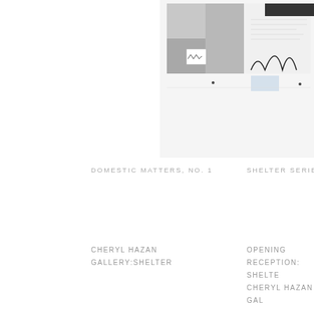[Figure (photo): Partial view of an artwork collage — 'Shelter Series' image showing architectural drawings, graphs, and mixed media on grey background, cropped at top-right of page]
DOMESTIC MATTERS, NO. 1
SHELTER SERIES, NO...
CHERYL HAZAN
GALLERY:SHELTER
OPENING
RECEPTION: SHELTER
CHERYL HAZAN GAL...